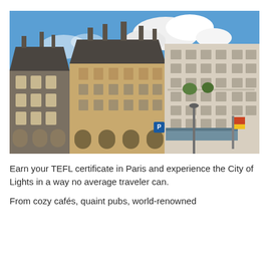[Figure (photo): Photograph of classic Parisian Haussmann-style buildings with ornate facades, mansard roofs with chimneys, Juliet balconies, and ground-floor shops with awnings. Blue sky with white clouds in the background. A blue parking sign is visible on the street level.]
Earn your TEFL certificate in Paris and experience the City of Lights in a way no average traveler can.
From cozy cafés, quaint pubs, world-renowned